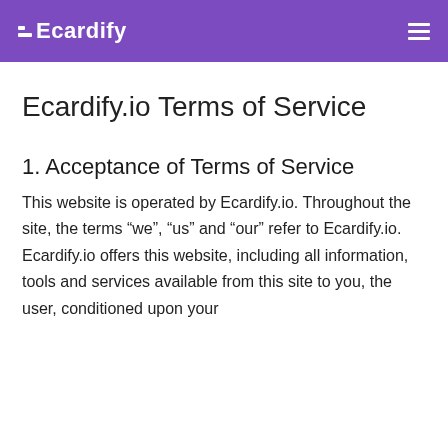Ecardify
Ecardify.io Terms of Service
1. Acceptance of Terms of Service
This website is operated by Ecardify.io. Throughout the site, the terms “we”, “us” and “our” refer to Ecardify.io. Ecardify.io offers this website, including all information, tools and services available from this site to you, the user, conditioned upon your